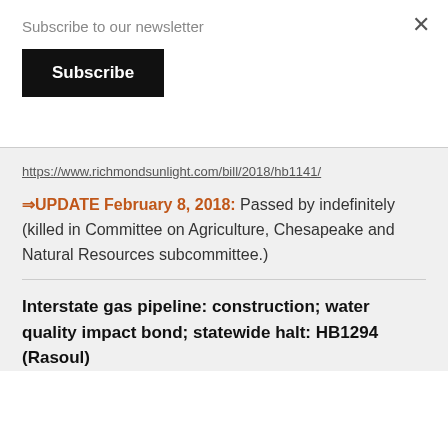Subscribe to our newsletter
Subscribe
https://www.richmondsunlight.com/bill/2018/hb1141/
⇒UPDATE February 8, 2018: Passed by indefinitely (killed in Committee on Agriculture, Chesapeake and Natural Resources subcommittee.)
Interstate gas pipeline: construction; water quality impact bond; statewide halt: HB1294 (Rasoul)